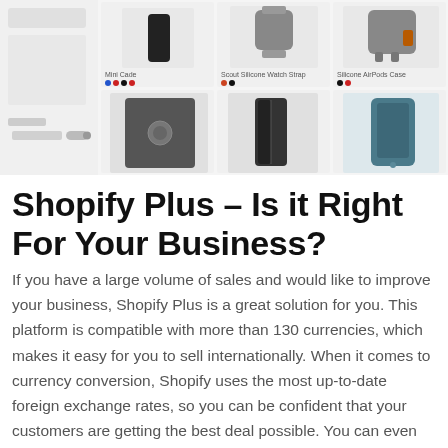[Figure (screenshot): Screenshot of a Shopify product catalog page showing a product grid with phone cases, watch bands, AirPods cases, tablet cases, and phone cases in multiple colors. Left side shows filter panel with a toggle for 'Commons Only'.]
Shopify Plus – Is it Right For Your Business?
If you have a large volume of sales and would like to improve your business, Shopify Plus is a great solution for you. This platform is compatible with more than 130 currencies, which makes it easy for you to sell internationally. When it comes to currency conversion, Shopify uses the most up-to-date foreign exchange rates, so you can be confident that your customers are getting the best deal possible. You can even notify customers of currency switchovers, so they will not be confused.
If you have a large volume of products, you'll definitely benefit from